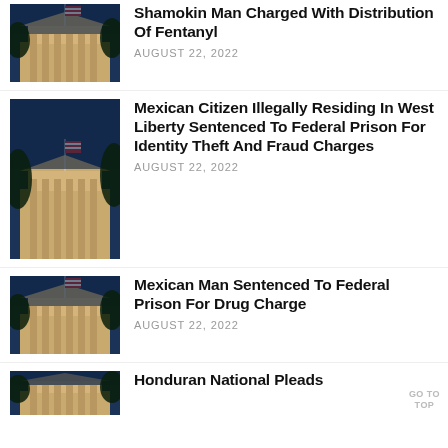[Figure (photo): Government building with columns and flag, night/dusk lighting]
Shamokin Man Charged With Distribution Of Fentanyl
AUGUST 22, 2022
[Figure (photo): Government building with columns and flag, night/dusk lighting]
Mexican Citizen Illegally Residing In West Liberty Sentenced To Federal Prison For Identity Theft And Fraud Charges
AUGUST 22, 2022
[Figure (photo): Government building with columns and flag, night/dusk lighting]
Mexican Man Sentenced To Federal Prison For Drug Charge
AUGUST 22, 2022
[Figure (photo): Government building with columns and flag, night/dusk lighting, partial view]
Honduran National Pleads